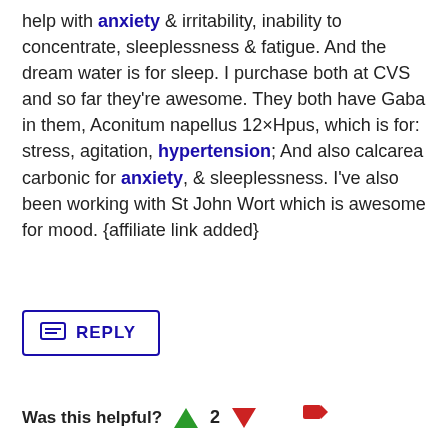help with anxiety & irritability, inability to concentrate, sleeplessness & fatigue. And the dream water is for sleep. I purchase both at CVS and so far they're awesome. They both have Gaba in them, Aconitum napellus 12×Hpus, which is for: stress, agitation, hypertension; And also calcarea carbonic for anxiety, & sleeplessness. I've also been working with St John Wort which is awesome for mood. {affiliate link added}
REPLY
Was this helpful? 2
11 Mrsann Says: Sun, December 9, 2018
Re: dennis (# 2)